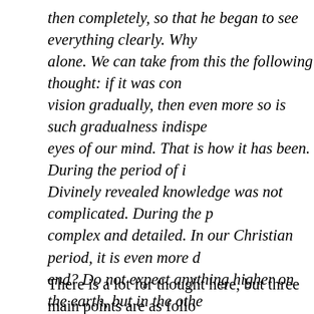then completely, so that he began to see everything clearly. Why alone. We can take from this the following thought: if it was con vision gradually, then even more so is such gradualness indispe eyes of our mind. That is how it has been. During the period of i Divinely revealed knowledge was not complicated. During the p complex and detailed. In our Christian period, it is even more d end? Do not expect anything higher on the earth, but in the othe higher]. Two Holy Apostles assure us of this: Sts. John and Pau a glass, darkly (I Cor. 13:12)," but then we will see everything c degrees of enlightenment of the mind, for the realm of the knowl revelation on earth is already complete; there is no point in drea have everything we need; learn it and live by it. Christian revela revelation in the future, but only that the Gospel will be known i universality and generality of the knowledge of the Gospel is the After this, faith will weaken, love will dry up, life will become di put an end to the world. – Thoughts for Each Day of the Year.
There is a lot for thought here, but three main points are as follo